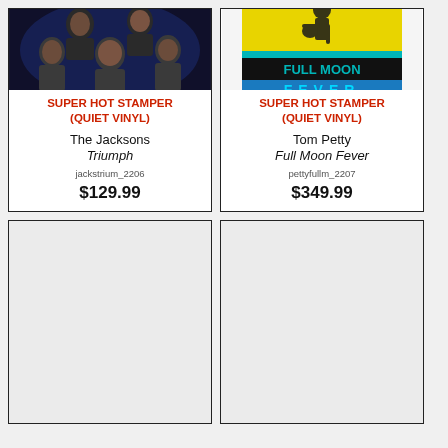[Figure (photo): Album cover for The Jacksons - Triumph, showing group photo with dark blue background]
SUPER HOT STAMPER (QUIET VINYL)
The Jacksons
Triumph
jackstrium_2206
$129.99
[Figure (photo): Album cover for Tom Petty - Full Moon Fever, yellow and teal graphic design with artist silhouette]
SUPER HOT STAMPER (QUIET VINYL)
Tom Petty
Full Moon Fever
pettyfullm_2207
$349.99